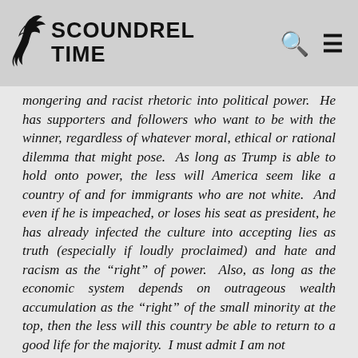Scoundrel Time
mongering and racist rhetoric into political power. He has supporters and followers who want to be with the winner, regardless of whatever moral, ethical or rational dilemma that might pose. As long as Trump is able to hold onto power, the less will America seem like a country of and for immigrants who are not white. And even if he is impeached, or loses his seat as president, he has already infected the culture into accepting lies as truth (especially if loudly proclaimed) and hate and racism as the “right” of power. Also, as long as the economic system depends on outrageous wealth accumulation as the “right” of the small minority at the top, then the less will this country be able to return to a good life for the majority. I must admit I am not